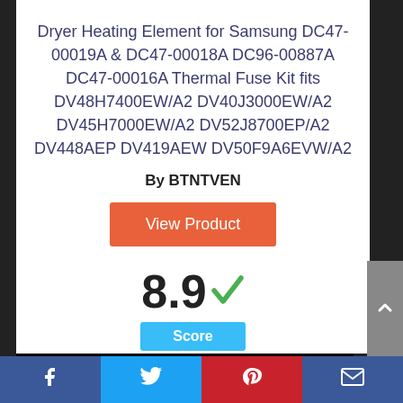Dryer Heating Element for Samsung DC47-00019A & DC47-00018A DC96-00887A DC47-00016A Thermal Fuse Kit fits DV48H7400EW/A2 DV40J3000EW/A2 DV45H7000EW/A2 DV52J8700EP/A2 DV448AEP DV419AEW DV50F9A6EVW/A2
By BTNTVEN
View Product
8.9 ✓
Score
Facebook | Twitter | Pinterest | Email